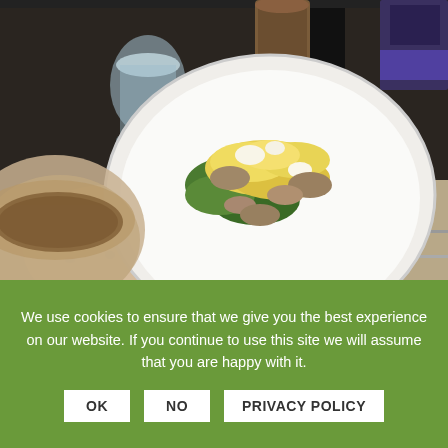[Figure (photo): A food photo showing a white plate with scrambled eggs, mushrooms, and greens on a dark restaurant table. There is a cookie/scone, a water glass, a coffee cup, and some cards/objects visible in the background.]
Sorry for the image quality - but...
We use cookies to ensure that we give you the best experience on our website. If you continue to use this site we will assume that you are happy with it.
OK   NO   PRIVACY POLICY